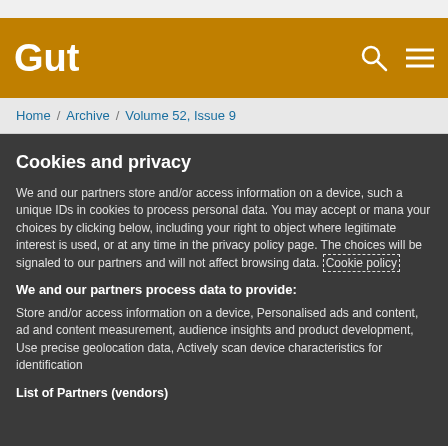Gut
Home / Archive / Volume 52, Issue 9
Cookies and privacy
We and our partners store and/or access information on a device, such as unique IDs in cookies to process personal data. You may accept or manage your choices by clicking below, including your right to object where legitimate interest is used, or at any time in the privacy policy page. These choices will be signaled to our partners and will not affect browsing data. Cookie policy
We and our partners process data to provide:
Store and/or access information on a device, Personalised ads and content, ad and content measurement, audience insights and product development, Use precise geolocation data, Actively scan device characteristics for identification
List of Partners (vendors)